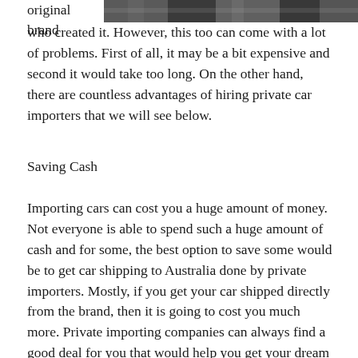[Figure (photo): Partial image of a car or road scene visible at the top right of the page, dark toned photograph]
original brand who created it. However, this too can come with a lot of problems. First of all, it may be a bit expensive and second it would take too long. On the other hand, there are countless advantages of hiring private car importers that we will see below.
Saving Cash
Importing cars can cost you a huge amount of money. Not everyone is able to spend such a huge amount of cash and for some, the best option to save some would be to get car shipping to Australia done by private importers. Mostly, if you get your car shipped directly from the brand, then it is going to cost you much more. Private importing companies can always find a good deal for you that would help you get your dream car in lesser money.